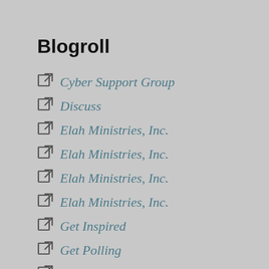Blogroll
Cyber Support Group
Discuss
Elah Ministries, Inc.
Elah Ministries, Inc.
Elah Ministries, Inc.
Elah Ministries, Inc.
Get Inspired
Get Polling
Get Support
Inspirational books
Learn WordPress.com
Theme Showcase
WordPress Planet